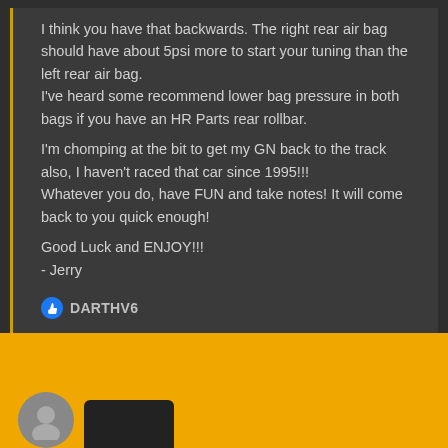I think you have that backwards. The right rear air bag should have about 5psi more to start your tuning than the left rear air bag.
I've heard some recommend lower bag pressure in both bags if you have an HR Parts rear rollbar.

I'm chomping at the bit to get my GN back to the track also, I haven't raced that car since 1995!!!
Whatever you do, have FUN and take notes! It will come back to you quick enough!

Good Luck and ENJOY!!!
- Jerry
DARTHV6
[Figure (photo): Yellow footer area with avatar circle and dark rounded rectangle representing a user profile or next post preview]